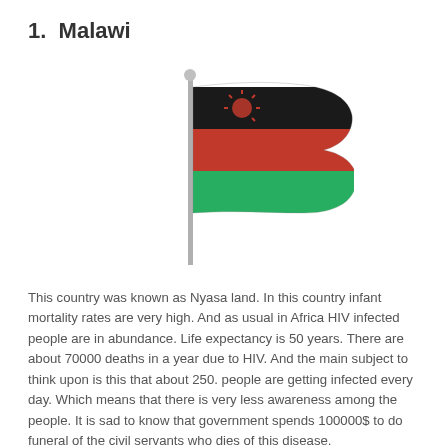1. Malawi
[Figure (illustration): Malawi national flag waving on a pole — three horizontal stripes of black (top), red (middle), and green (bottom), with a red rising sun emblem centered on the black stripe.]
This country was known as Nyasa land. In this country infant mortality rates are very high. And as usual in Africa HIV infected people are in abundance. Life expectancy is 50 years. There are about 70000 deaths in a year due to HIV. And the main subject to think upon is this that about 250. people are getting infected every day. Which means that there is very less awareness among the people. It is sad to know that government spends 100000$ to do funeral of the civil servants who dies of this disease.